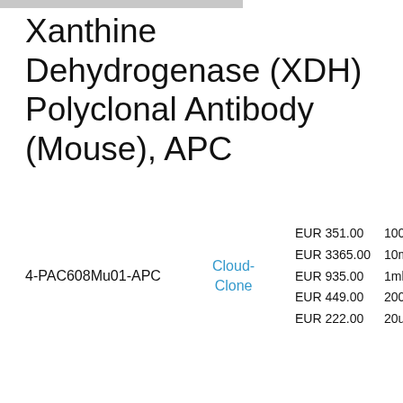Xanthine Dehydrogenase (XDH) Polyclonal Antibody (Mouse), APC
4-PAC608Mu01-APC
Cloud-Clone
| Price | Size |
| --- | --- |
| EUR 351.00 | 100ul |
| EUR 3365.00 | 10ml |
| EUR 935.00 | 1ml |
| EUR 449.00 | 200ul |
| EUR 222.00 | 20ul |
Description: A Rabbit polyclonal antibody against Mouse Xanthine Dehydrogenase (XDH). This antibody is conjugated with APC.
[Figure (photo): Thumbnail image of product, gray placeholder]